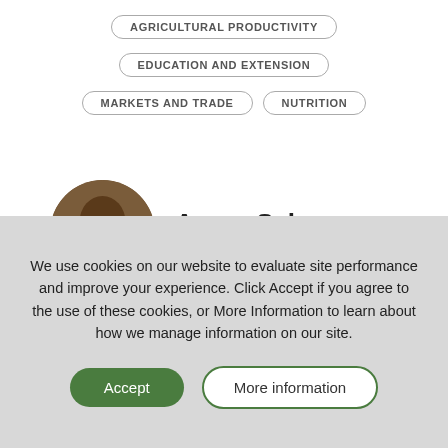AGRICULTURAL PRODUCTIVITY
EDUCATION AND EXTENSION
MARKETS AND TRADE
NUTRITION
Azeez Salawu
Nigeria | Joined September 20, 2019
We use cookies on our website to evaluate site performance and improve your experience. Click Accept if you agree to the use of these cookies, or More Information to learn about how we manage information on our site.